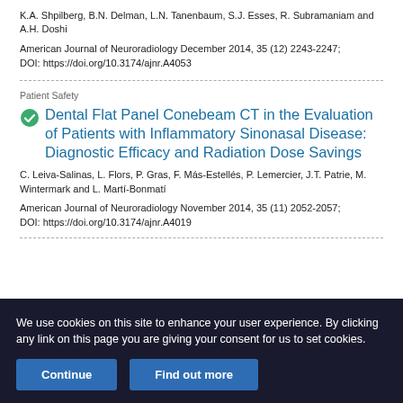K.A. Shpilberg, B.N. Delman, L.N. Tanenbaum, S.J. Esses, R. Subramaniam and A.H. Doshi
American Journal of Neuroradiology December 2014, 35 (12) 2243-2247; DOI: https://doi.org/10.3174/ajnr.A4053
Patient Safety
Dental Flat Panel Conebeam CT in the Evaluation of Patients with Inflammatory Sinonasal Disease: Diagnostic Efficacy and Radiation Dose Savings
C. Leiva-Salinas, L. Flors, P. Gras, F. Más-Estellés, P. Lemercier, J.T. Patrie, M. Wintermark and L. Martí-Bonmatí
American Journal of Neuroradiology November 2014, 35 (11) 2052-2057; DOI: https://doi.org/10.3174/ajnr.A4019
We use cookies on this site to enhance your user experience. By clicking any link on this page you are giving your consent for us to set cookies.